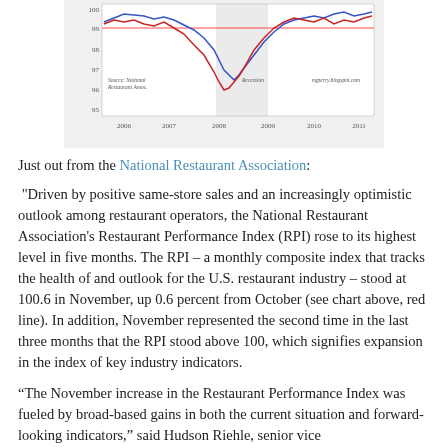[Figure (continuous-plot): Line chart showing National Restaurant Association Restaurant Performance Index (RPI) and a related index from 2006 to 2011. Two lines: red (RPI) and blue. Y-axis from 95 to 100+. A shaded recession band around 2008-2009. Red horizontal line at 100. Source: National Restaurant Assoc., mjperry.blogspot.com.]
Just out from the National Restaurant Association:
"Driven by positive same-store sales and an increasingly optimistic outlook among restaurant operators, the National Restaurant Association's Restaurant Performance Index (RPI) rose to its highest level in five months. The RPI – a monthly composite index that tracks the health of and outlook for the U.S. restaurant industry – stood at 100.6 in November, up 0.6 percent from October (see chart above, red line). In addition, November represented the second time in the last three months that the RPI stood above 100, which signifies expansion in the index of key industry indicators.
“The November increase in the Restaurant Performance Index was fueled by broad-based gains in both the current situation and forward-looking indicators,” said Hudson Riehle, senior vice